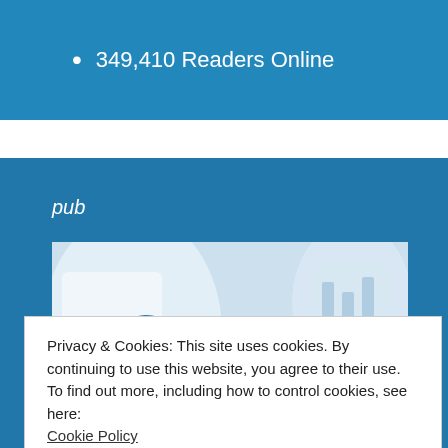349,410 Readers Online
pub
[Figure (photo): Control Global magazine cover showing a person in a lab coat with industrial equipment, with the 'CONTROL' logo visible.]
Privacy & Cookies: This site uses cookies. By continuing to use this website, you agree to their use.
To find out more, including how to control cookies, see here: Cookie Policy
Close and accept